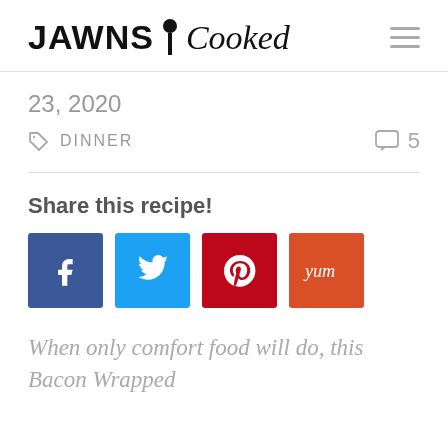JAWNS i Cooked
23, 2020
DINNER   5
Share this recipe!
[Figure (infographic): Social share buttons: Facebook (blue), Twitter (light blue), Pinterest (red), Yummly (orange)]
When only comfort food will do, this Bacon Wrapped